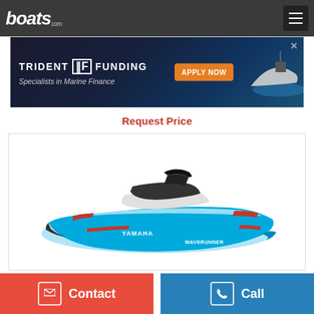boats.com
[Figure (screenshot): Trident Funding advertisement banner - 'Specialists in Marine Finance' with APPLY NOW button and boat image]
Request Price
[Figure (photo): Yamaha FX WaveRunner jet ski in blue and white with red accents, side profile view on white background]
Contact
Call